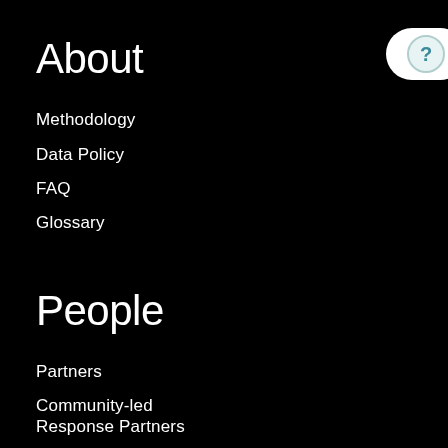About
Methodology
Data Policy
FAQ
Glossary
People
Partners
Community-led Response Partners
Advisors
Work